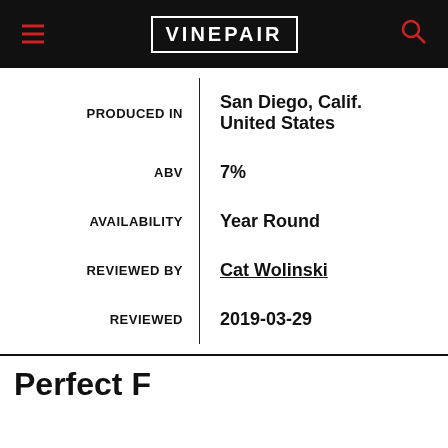VINEPAIR
| Label | Value |
| --- | --- |
| PRODUCED IN | San Diego, Calif. United States |
| ABV | 7% |
| AVAILABILITY | Year Round |
| REVIEWED BY | Cat Wolinski |
| REVIEWED | 2019-03-29 |
Perfect F...